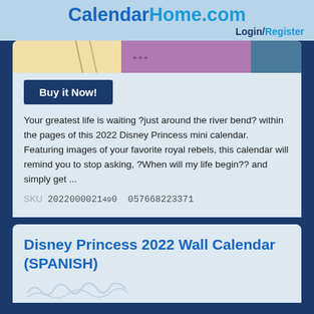CalendarHome.com Login/Register
[Figure (photo): Partial view of a Disney Princess calendar cover showing colorful illustrations]
Buy it Now!
Your greatest life is waiting ?just around the river bend? within the pages of this 2022 Disney Princess mini calendar. Featuring images of your favorite royal rebels, this calendar will remind you to stop asking, ?When will my life begin?? and simply get ...
SKU  2022000021490  057668223371
Disney Princess 2022 Wall Calendar (SPANISH)